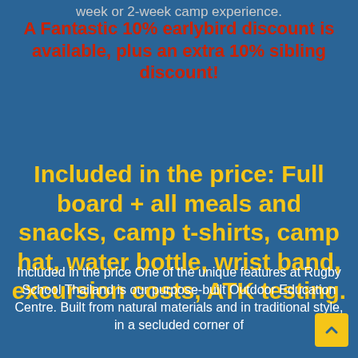week or 2-week camp experience.
A Fantastic 10% earlybird discount is available, plus an extra 10% sibling discount!
Included in the price: Full board + all meals and snacks, camp t-shirts, camp hat, water bottle, wrist band, excursion costs, ATK testing.
Included in the price One of the unique features at Rugby School Thailand is our purpose-built Outdoor Education Centre. Built from natural materials and in traditional style, in a secluded corner of